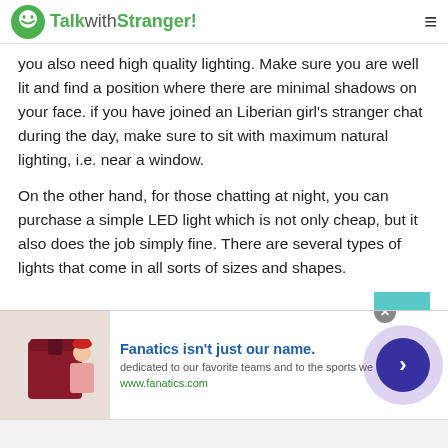TalkwithStranger!
you also need high quality lighting. Make sure you are well lit and find a position where there are minimal shadows on your face. if you have joined an Liberian girl's stranger chat during the day, make sure to sit with maximum natural lighting, i.e. near a window.
On the other hand, for those chatting at night, you can purchase a simple LED light which is not only cheap, but it also does the job simply fine. There are several types of lights that come in all sorts of sizes and shapes.
The Background
[Figure (screenshot): Advertisement banner for Fanatics with product image, headline 'Fanatics isn't just our name.', description text, and navigation arrow button]